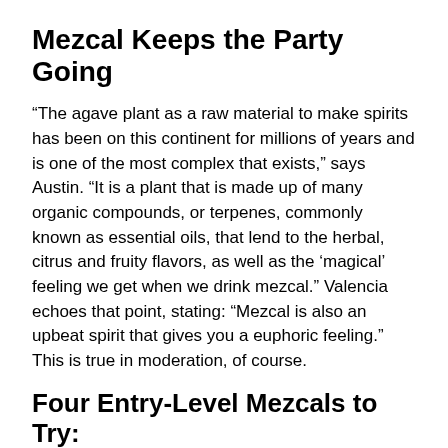Mezcal Keeps the Party Going
“The agave plant as a raw material to make spirits has been on this continent for millions of years and is one of the most complex that exists,” says Austin. “It is a plant that is made up of many organic compounds, or terpenes, commonly known as essential oils, that lend to the herbal, citrus and fruity flavors, as well as the ‘magical’ feeling we get when we drink mezcal.” Valencia echoes that point, stating: “Mezcal is also an upbeat spirit that gives you a euphoric feeling.” This is true in moderation, of course.
Four Entry-Level Mezcals to Try: